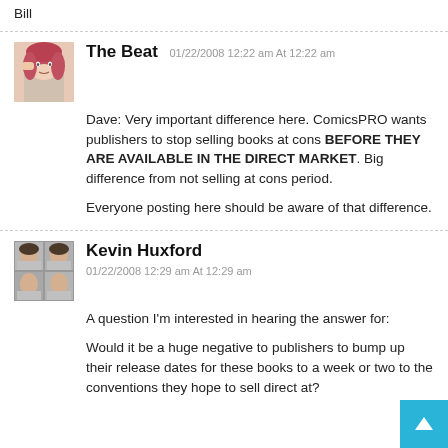Bill
The Beat 01/22/2008 12:22 am At 12:22 am
Dave: Very important difference here. ComicsPRO wants publishers to stop selling books at cons BEFORE THEY ARE AVAILABLE IN THE DIRECT MARKET. Big difference from not selling at cons period.

Everyone posting here should be aware of that difference.
Kevin Huxford
01/22/2008 12:29 am At 12:29 am
A question I'm interested in hearing the answer for:

Would it be a huge negative to publishers to bump up their release dates for these books to a week or two to the conventions they hope to sell direct at?